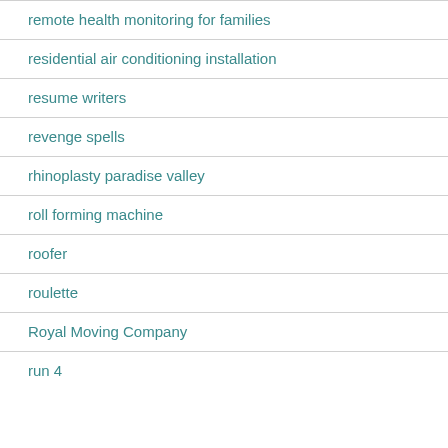remote health monitoring for families
residential air conditioning installation
resume writers
revenge spells
rhinoplasty paradise valley
roll forming machine
roofer
roulette
Royal Moving Company
run 4